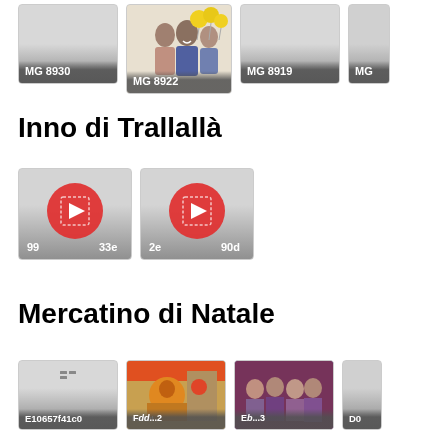[Figure (photo): Gallery row showing photo thumbnails: MG 8930 (grey placeholder), MG 8922 (people with yellow balloons), MG 8919 (grey placeholder), MG partial (grey placeholder, cut off)]
Inno di Trallallà
[Figure (other): Two video thumbnails with red play buttons: 99...33e and 2e...90d]
Mercatino di Natale
[Figure (photo): Gallery row showing thumbnails: E10657f41c0 (grey with small doc icon), colourful market stall photo, people group photo, D0 partial cut off]